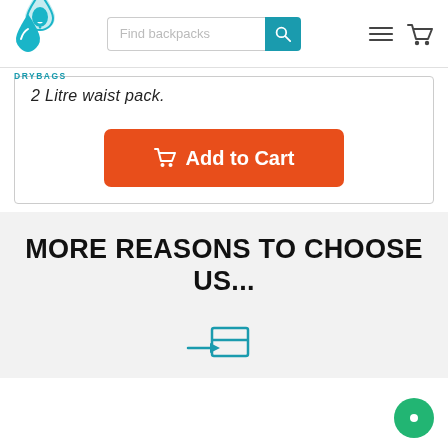DRYBAGS | Find backpacks [search] [menu] [cart]
2 Litre waist pack.
[Figure (other): Orange 'Add to Cart' button with shopping cart icon]
MORE REASONS TO CHOOSE US...
[Figure (other): Teal delivery/return icon (arrow into box)]